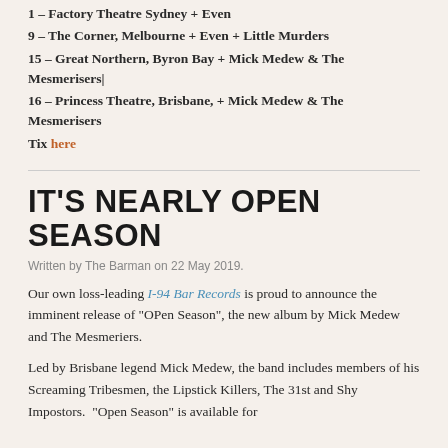1 – Factory Theatre Sydney + Even
9 – The Corner, Melbourne + Even + Little Murders
15 – Great Northern, Byron Bay + Mick Medew & The Mesmerisers|
16 – Princess Theatre, Brisbane, + Mick Medew & The Mesmerisers
Tix here
IT'S NEARLY OPEN SEASON
Written by The Barman on 22 May 2019.
Our own loss-leading I-94 Bar Records is proud to announce the imminent release of "OPen Season", the new album by Mick Medew and The Mesmeriers.
Led by Brisbane legend Mick Medew, the band includes members of his Screaming Tribesmen, the Lipstick Killers, The 31st and Shy Impostors.  "Open Season" is available for